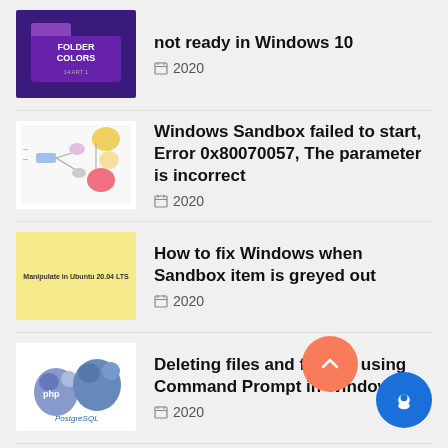not ready in Windows 10 — 2020
Windows Sandbox failed to start, Error 0x80070057, The parameter is incorrect — 2020
How to fix Windows when Sandbox item is greyed out — 2020
Deleting files and folders using Command Prompt in Windows 10 — 2020
Install APCu in cPanel server — 2020